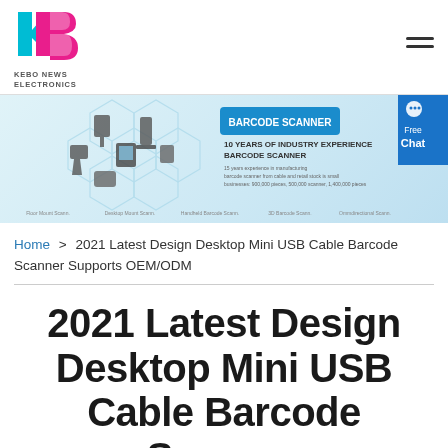[Figure (logo): KB logo with teal K and pink/magenta B, brand name KEBO NEWS ELECTRONICS below]
[Figure (infographic): Barcode Scanner promotional banner: hexagonal icons of various barcode scanners, text '10 YEARS OF INDUSTRY EXPERIENCE BARCODE SCANNER', 'Free Chat' button on right]
Home > 2021 Latest Design Desktop Mini USB Cable Barcode Scanner Supports OEM/ODM
2021 Latest Design Desktop Mini USB Cable Barcode Scanner